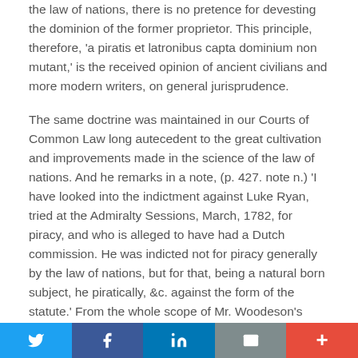the law of nations, there is no pretence for devesting the dominion of the former proprietor. This principle, therefore, 'a piratis et latronibus capta dominium non mutant,' is the received opinion of ancient civilians and more modern writers, on general jurisprudence.
The same doctrine was maintained in our Courts of Common Law long autecedent to the great cultivation and improvements made in the science of the law of nations. And he remarks in a note, (p. 427. note n.) 'I have looked into the indictment against Luke Ryan, tried at the Admiralty Sessions, March, 1782, for piracy, and who is alleged to have had a Dutch commission. He was indicted not for piracy generally by the law of nations, but for that, being a natural born subject, he piratically, &c. against the form of the statute.' From the whole scope of Mr. Woodeson's observations on the subject of piracy, it is very clear that he
Twitter | Facebook | LinkedIn | Email | More